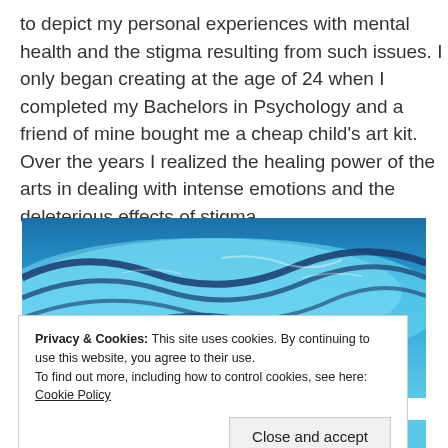to depict my personal experiences with mental health and the stigma resulting from such issues. I only began creating at the age of 24 when I completed my Bachelors in Psychology and a friend of mine bought me a cheap child's art kit. Over the years I realized the healing power of the arts in dealing with intense emotions and the deleterious effects of stigma.
[Figure (illustration): Abstract blue artwork with swirling dark blue lines on a lighter blue background, resembling a landscape or emotional artwork created with crayons or pastels.]
Privacy & Cookies: This site uses cookies. By continuing to use this website, you agree to their use.
To find out more, including how to control cookies, see here: Cookie Policy
Close and accept